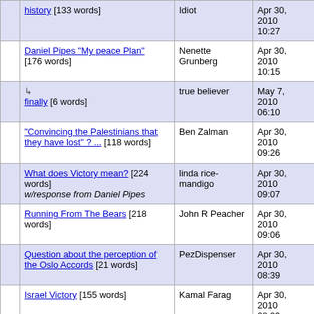|  | history [133 words] | Idiot | Apr 30, 2010 10:27 |
|  | Daniel Pipes "My peace Plan" [176 words] | Nenette Grunberg | Apr 30, 2010 10:15 |
|  | ↳ finally [6 words] | true believer | May 7, 2010 06:10 |
|  | "Convincing the Palestinians that they have lost" ? ... [118 words] | Ben Zalman | Apr 30, 2010 09:26 |
|  | What does Victory mean? [224 words] w/response from Daniel Pipes | linda rice-mandigo | Apr 30, 2010 09:07 |
|  | Running From The Bears [218 words] | John R Peacher | Apr 30, 2010 09:06 |
|  | Question about the perception of the Oslo Accords [21 words] | PezDispenser | Apr 30, 2010 08:39 |
|  | Israel Victory [155 words] | Kamal Farag | Apr 30, 2010 08:29 |
|  | Let Israel handle it [24 words] | Chip | Apr 30, 2010 |